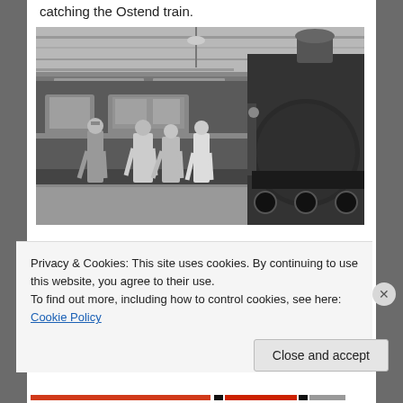catching the Ostend train.
[Figure (photo): Black and white photograph of a railway station platform. A steam locomotive is visible on the right side. Several people in coats stand on the platform next to a train carriage. The station has an indoor canopy structure visible in the background.]
Privacy & Cookies: This site uses cookies. By continuing to use this website, you agree to their use.
To find out more, including how to control cookies, see here: Cookie Policy
Close and accept